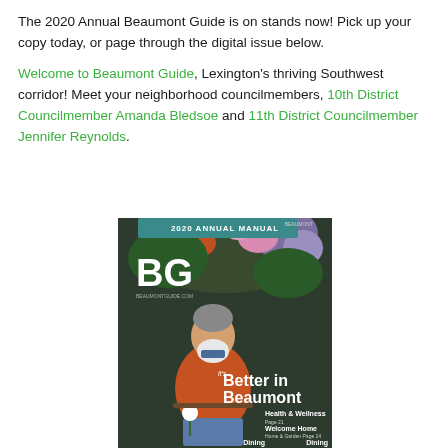The 2020 Annual Beaumont Guide is on stands now! Pick up your copy today, or page through the digital issue below.
Welcome to Beaumont Guide, Lexington's thriving Southwest corridor! Meet your neighborhood councilmembers, 10th District Councilmember Amanda Bledsoe and 11th District Councilmember Jennifer Reynolds.
[Figure (photo): Cover of the 2020 Annual Beaumont Guide magazine showing a man in an orange sweater sitting in front of colorful flowers, with text 'it's Better in Beaumont' and table of contents listings for Health & Wellness, Welcome Home, Dining, Retail, Senior Living, and Worship.]